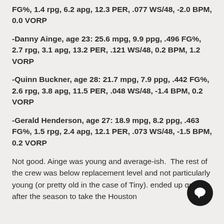FG%, 1.4 rpg, 6.2 apg, 12.3 PER, .077 WS/48, -2.0 BPM, 0.0 VORP
-Danny Ainge, age 23: 25.6 mpg, 9.9 ppg, .496 FG%, 2.7 rpg, 3.1 apg, 13.2 PER, .121 WS/48, 0.2 BPM, 1.2 VORP
-Quinn Buckner, age 28: 21.7 mpg, 7.9 ppg, .442 FG%, 2.6 rpg, 3.8 apg, 11.5 PER, .048 WS/48, -1.4 BPM, 0.2 VORP
-Gerald Henderson, age 27: 18.9 mpg, 8.2 ppg, .463 FG%, 1.5 rpg, 2.4 apg, 12.1 PER, .073 WS/48, -1.5 BPM, 0.2 VORP
Not good. Ainge was young and average-ish.  The rest of the crew was below replacement level and not particularly young (or pretty old in the case of Tiny). ended up quitting after the season to take the Houston